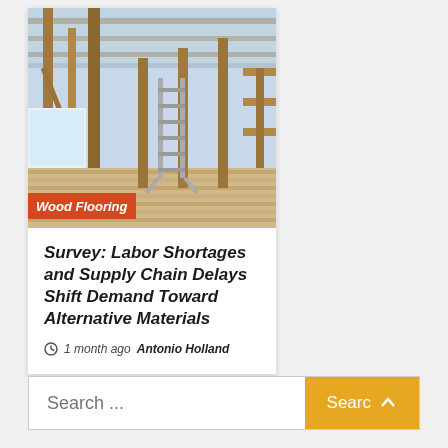[Figure (photo): Interior of a building under construction showing wood framing, timber studs, roof structure, a ladder, and a window opening. Natural light coming in. Label overlay reads 'Wood Flooring'.]
Survey: Labor Shortages and Supply Chain Delays Shift Demand Toward Alternative Materials
1 month ago  Antonio Holland